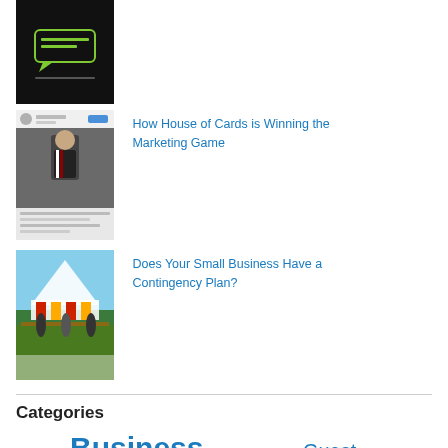[Figure (screenshot): Thumbnail image: dark background with a green speech bubble logo and small text below]
[Figure (screenshot): Thumbnail of a social media post showing a man in a suit, from House of Cards]
How House of Cards is Winning the Marketing Game
[Figure (photo): Thumbnail of a colorful event/fair scene with tents and decorations]
Does Your Small Business Have a Contingency Plan?
Categories
Branding Business Event Planning Guest